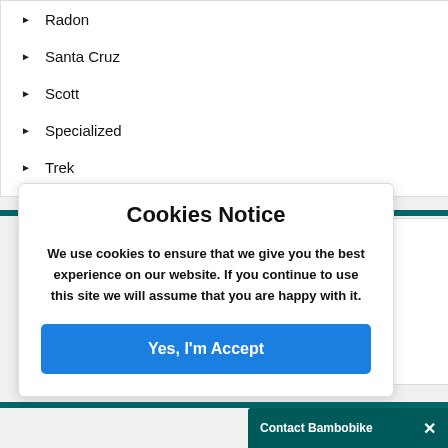Radon
Santa Cruz
Scott
Specialized
Trek
Cookies Notice
We use cookies to ensure that we give you the best experience on our website. If you continue to use this site we will assume that you are happy with it.
Yes, I'm Accept
Contact Bambobike ×